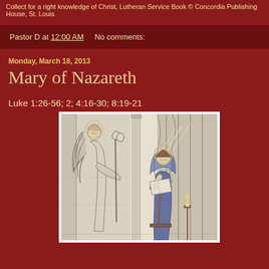Collect for a right knowledge of Christ, Lutheran Service Book © Concordia Publishing House, St. Louis
Pastor D at 12:00 AM    No comments:
Monday, March 18, 2013
Mary of Nazareth
Luke 1:26-56; 2; 4:16-30; 8:19-21
[Figure (illustration): Black and white engraving of the Annunciation scene: an angel with wings on the left approaches Mary who is kneeling at a reading stand on the right, in an interior architectural setting with draped curtains and columns.]